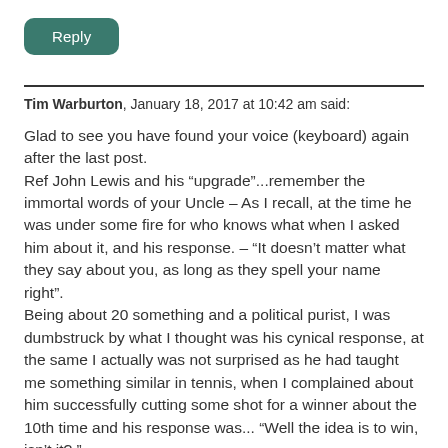Reply
Tim Warburton, January 18, 2017 at 10:42 am said:
Glad to see you have found your voice (keyboard) again after the last post.
Ref John Lewis and his “upgrade”...remember the immortal words of your Uncle – As I recall, at the time he was under some fire for who knows what when I asked him about it, and his response. – “It doesn’t matter what they say about you, as long as they spell your name right”.
Being about 20 something and a political purist, I was dumbstruck by what I thought was his cynical response, at the same I actually was not surprised as he had taught me something similar in tennis, when I complained about him successfully cutting some shot for a winner about the 10th time and his response was... “Well the idea is to win, isn’t it? ”